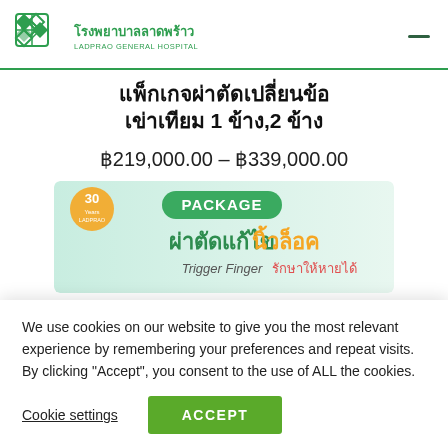โรงพยาบาลลาดพร้าว LADPRAO GENERAL HOSPITAL
แพ็กเกจผ่าตัดเปลี่ยนข้อเข่าเทียม 1 ข้าง,2 ข้าง
฿219,000.00 – ฿339,000.00
[Figure (infographic): Package banner for trigger finger surgery - ผ่าตัดแก้ไข นิ้วล็อค, Trigger Finger รักษาให้หายได้, with 30 years anniversary logo]
We use cookies on our website to give you the most relevant experience by remembering your preferences and repeat visits. By clicking "Accept", you consent to the use of ALL the cookies.
Cookie settings   ACCEPT